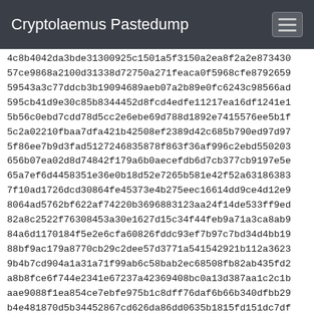Cryptolaemus Pastedump
4c8b4042da3bde31300925c1501a5f3150a2ea8f2a2e87343e
57ce9868a2100d31338d72750a271feaca0f5968cfe8792659
59543a3c77ddcb3b19094689aeb07a2b89e0fc6243c98566ad
595cb41d9e30c85b8344452d8fcd4edfe11217ea16df1241e1
5b56c0ebd7cdd78d5cc2e6ebe69d788d1892e7415576ee5b1f
5c2a02210fbaa7dfa421b42508ef2389d42c685b790ed97d97
5f86ee7b9d3fad5127246835878f863f36af996c2ebd550203
656b07ea02d8d74842f179a6b0aecefdb6d7cb377cb9197e5e
65a7ef6d4458351e36e0b18d52e7265b581e42f52a631863839
7f10ad1726dcd30864fe45373e4b275eec16614dd9ce4d12e9
8064ad5762bf622af74220b3696883123aa24f14de533ff9ed
82a8c2522f76308453a30e1627d15c34f44feb9a71a3ca8ab9
84a6d1170184f5e2e6cfa60826fddc93ef7b97c7bd34d4bb19
88bf9ac179a8770cb29c2dee57d3771a541542921b112a3623
9b4b7cd904a1a31a71f99ab6c58bab2ec68508fb82ab435fd2
a8b8fce6f744e2341e67237a42369408bc0a13d387aa1c2c1b
aae9088f1ea854ce7ebfe975b1c8dff76daf6b66b340dfbb29
b4e481870d5b34452867cd626da86dd0635b1815fd151dc7df
bcc7137c4e67b0f403ca9e0fe336c07f4cdb1abf594c829fc1